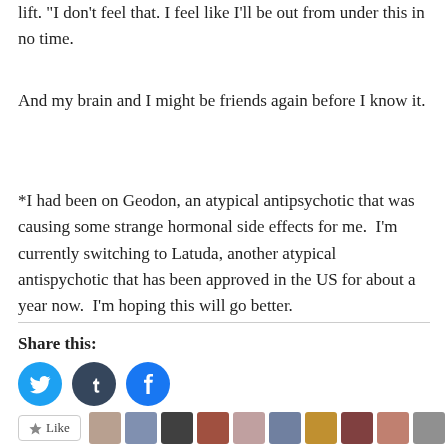lift.  "I don't feel that.  I feel like I'll be out from under this in no time.
And my brain and I might be friends again before I know it.
*I had been on Geodon, an atypical antipsychotic that was causing some strange hormonal side effects for me.  I'm currently switching to Latuda, another atypical antispychotic that has been approved in the US for about a year now.  I'm hoping this will go better.
Share this:
[Figure (infographic): Social share buttons: Twitter (blue circle), Tumblr (dark circle), Facebook (blue circle)]
[Figure (infographic): Like button and row of user avatar thumbnails]